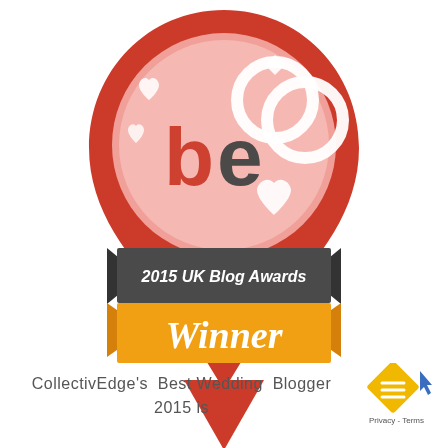[Figure (logo): 2015 UK Blog Awards Winner badge — a red map-pin shape with a pink circle containing 'be' logo and wedding rings with hearts, a dark grey ribbon banner reading '2015 UK Blog Awards' and a gold/orange banner reading 'Winner' in white script font.]
CollectivEdge's  Best Wedding  Blogger  2015 is
[Figure (logo): Small gold diamond/rotated square icon with hamburger menu lines, and 'Privacy - Terms' text — a Google Maps-style widget overlay in the bottom right corner.]